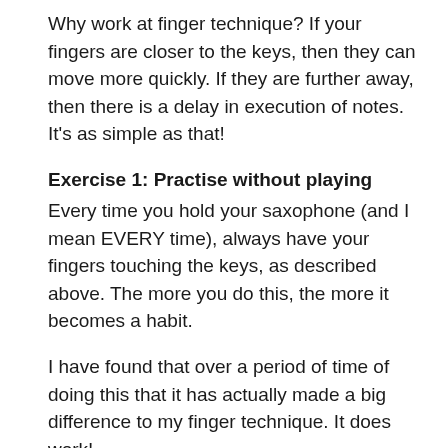Why work at finger technique? If your fingers are closer to the keys, then they can move more quickly. If they are further away, then there is a delay in execution of notes. It's as simple as that!
Exercise 1: Practise without playing
Every time you hold your saxophone (and I mean EVERY time), always have your fingers touching the keys, as described above. The more you do this, the more it becomes a habit.
I have found that over a period of time of doing this that it has actually made a big difference to my finger technique. It does work!